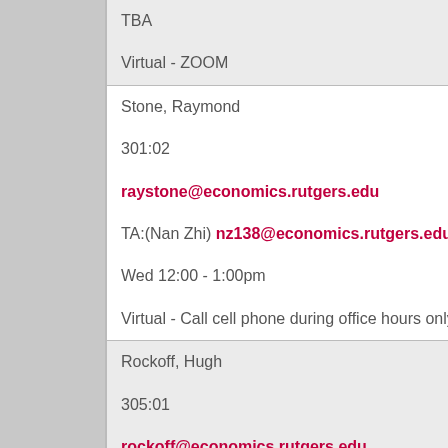TBA
Virtual - ZOOM
Stone, Raymond
301:02
raystone@economics.rutgers.edu
TA:(Nan Zhi) nz138@economics.rutgers.edu
Wed 12:00 - 1:00pm
Virtual - Call cell phone during office hours only see syllabus
Rockoff, Hugh
305:01
rockoff@economics.rutgers.edu
By email